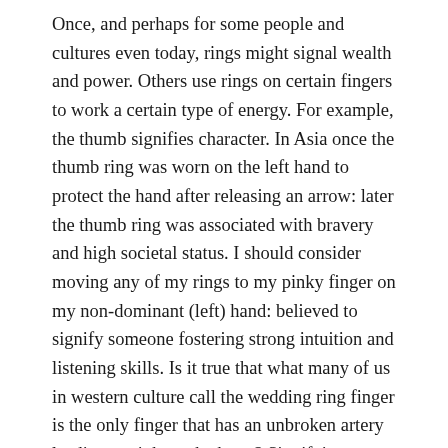Once, and perhaps for some people and cultures even today, rings might signal wealth and power. Others use rings on certain fingers to work a certain type of energy. For example, the thumb signifies character. In Asia once the thumb ring was worn on the left hand to protect the hand after releasing an arrow: later the thumb ring was associated with bravery and high societal status. I should consider moving any of my rings to my pinky finger on my non-dominant (left) hand: believed to signify someone fostering strong intuition and listening skills. Is it true that what many of us in western culture call the wedding ring finger is the only finger that has an unbroken artery leading straight to the heart? Signifying our eternal bond. And while I don't wear my mother's ring, the finger I naturally put this newly found ring of my grandmother's, my right hand ring finger, happens to be where the mother's ring would traditionally be worn.